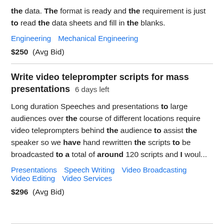the data. The format is ready and the requirement is just to read the data sheets and fill in the blanks.
Engineering   Mechanical Engineering
$250  (Avg Bid)
Write video teleprompter scripts for mass presentations  6 days left
Long duration Speeches and presentations to large audiences over the course of different locations require video teleprompters behind the audience to assist the speaker so we have hand rewritten the scripts to be broadcasted to a total of around 120 scripts and I woul...
Presentations   Speech Writing   Video Broadcasting   Video Editing   Video Services
$296  (Avg Bid)